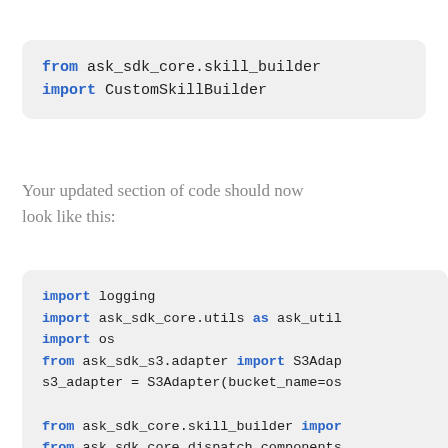[Figure (screenshot): Code block showing: from ask_sdk_core.skill_builder import CustomSkillBuilder]
Your updated section of code should now look like this:
[Figure (screenshot): Code block showing Python imports and logger setup including import logging, import ask_sdk_core.utils as ask_util, import os, from ask_sdk_s3.adapter import S3Adap, s3_adapter = S3Adapter(bucket_name=os, from ask_sdk_core.skill_builder impor, from ask_sdk_core.dispatch_components, from ask_sdk_core.dispatch_components, from ask_sdk_core.handler_input impor, from ask_sdk_model import Response, logger = logging.getLogger(name), logger.setLevel(logging.INFO)]